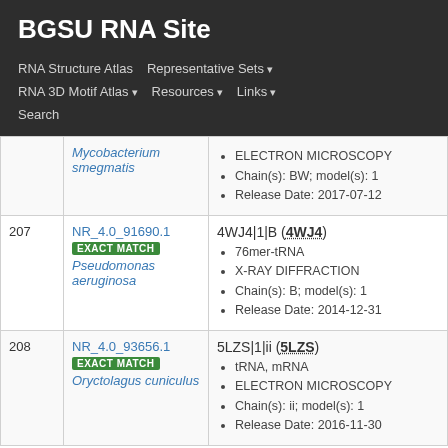BGSU RNA Site
RNA Structure Atlas
Representative Sets
RNA 3D Motif Atlas
Resources
Links
Search
| # | ID | Details |
| --- | --- | --- |
|  | Mycobacterium smegmatis | ELECTRON MICROSCOPY | Chain(s): BW; model(s): 1 | Release Date: 2017-07-12 |
| 207 | NR_4.0_91690.1 EXACT MATCH Pseudomonas aeruginosa | 4WJ4|1|B (4WJ4) 76mer-tRNA | X-RAY DIFFRACTION | Chain(s): B; model(s): 1 | Release Date: 2014-12-31 |
| 208 | NR_4.0_93656.1 EXACT MATCH Oryctolagus cuniculus | 5LZS|1|ii (5LZS) tRNA, mRNA | ELECTRON MICROSCOPY | Chain(s): ii; model(s): 1 | Release Date: 2016-11-30 |